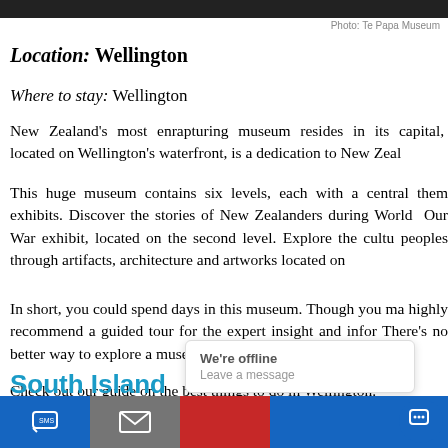Photo: Te Papa Museum
Location: Wellington
Where to stay: Wellington
New Zealand's most enrapturing museum resides in its capital, located on Wellington's waterfront, is a dedication to New Zea...
This huge museum contains six levels, each with a central them exhibits. Discover the stories of New Zealanders during World Our War exhibit, located on the second level. Explore the cultu peoples through artifacts, architecture and artworks located on...
In short, you could spend days in this museum. Though you ma highly recommend a guided tour for the expert insight and infor There's no better way to explore a museum than with someone their hand.
Check out our guide on the best things to do in Wellington.
South Island